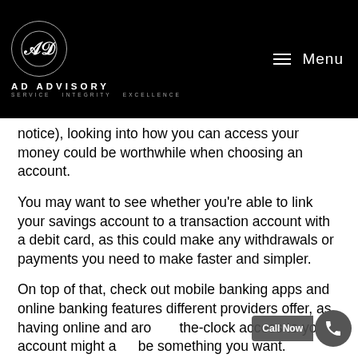AD ADVISORY — SERVICE INTEGRITY EXCELLENCE — Menu
notice), looking into how you can access your money could be worthwhile when choosing an account.
You may want to see whether you're able to link your savings account to a transaction account with a debit card, as this could make any withdrawals or payments you need to make faster and simpler.
On top of that, check out mobile banking apps and online banking features different providers offer, as having online and around-the-clock access to your account might also be something you want.